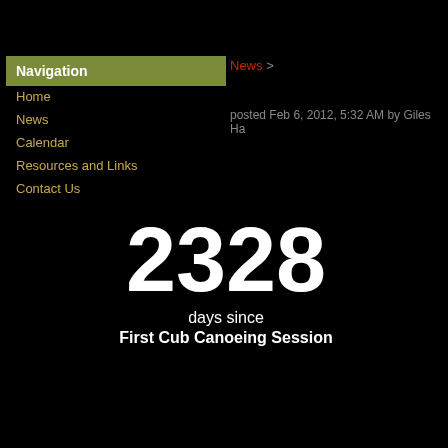Navigation
Home
News
Calendar
Resources and Links
Contact Us
News >
posted Feb 6, 2012, 5:32 AM by Giles Ha
2328
days since
First Cub Canoeing Session